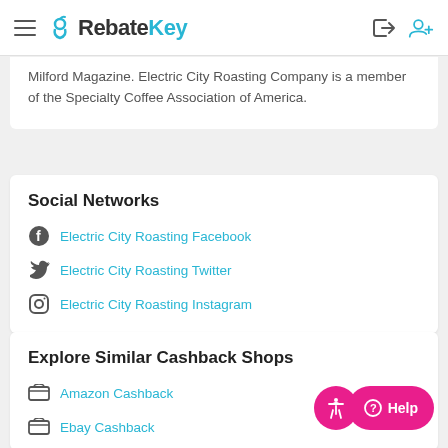RebateKey
Milford Magazine. Electric City Roasting Company is a member of the Specialty Coffee Association of America.
Social Networks
Electric City Roasting Facebook
Electric City Roasting Twitter
Electric City Roasting Instagram
Explore Similar Cashback Shops
Amazon Cashback
Ebay Cashback